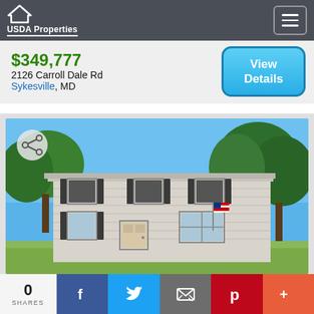USDA Properties
$349,777
2126 Carroll Dale Rd
Sykesville, MD
View Details
[Figure (photo): Exterior photo of a two-story colonial-style house with white/gray siding, black shutters, and trees in the background. An American flag is visible.]
0 SHARES
Facebook share button
Twitter share button
Email share button
Pinterest share button
More share button